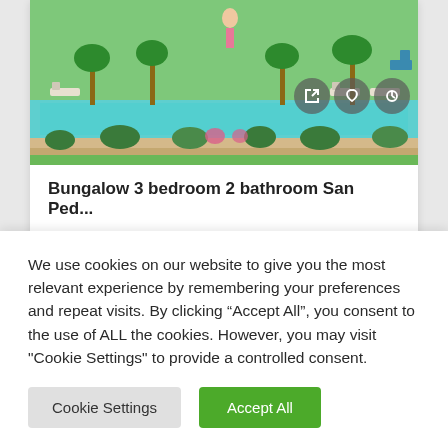[Figure (photo): Aerial/rendered view of a bungalow property with a swimming pool, sun loungers, palm trees, and green lawn.]
Bungalow 3 bedroom 2 bathroom San Ped...
€239,950   🛏 3  🚿 2  📐 81
We use cookies on our website to give you the most relevant experience by remembering your preferences and repeat visits. By clicking “Accept All”, you consent to the use of ALL the cookies. However, you may visit "Cookie Settings" to provide a controlled consent.
Cookie Settings
Accept All